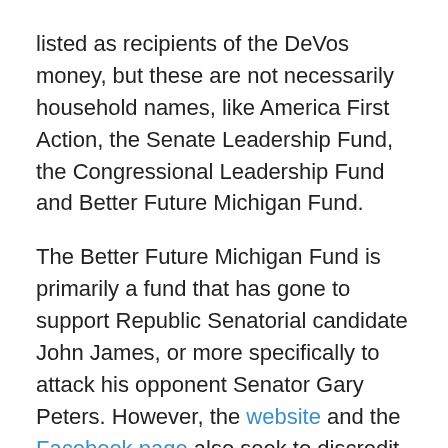listed as recipients of the DeVos money, but these are not necessarily household names, like America First Action, the Senate Leadership Fund, the Congressional Leadership Fund and Better Future Michigan Fund.
The Better Future Michigan Fund is primarily a fund that has gone to support Republic Senatorial candidate John James, or more specifically to attack his opponent Senator Gary Peters. However, the website and the Facebook page also seek to discredit proposals like Medicare for All and the Green New Deal.
America First Action is a PAC that also endorses a GOP platform and attacks Democratic candidates. Their mission statement is rather instructive:
For eight long years, America was held hostage by an